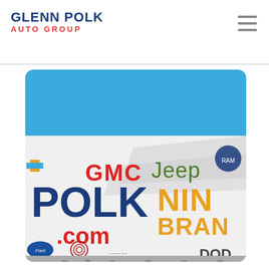GLENN POLK AUTO GROUP
[Figure (photo): Outdoor billboard sign for Glenn Polk Auto Group showing GMC, Jeep, Dodge, Ford, Buick, Chrysler brand logos and 'POLK.com' text with 'NINE BRANDS' partially visible on the right side, against a blue sky background.]